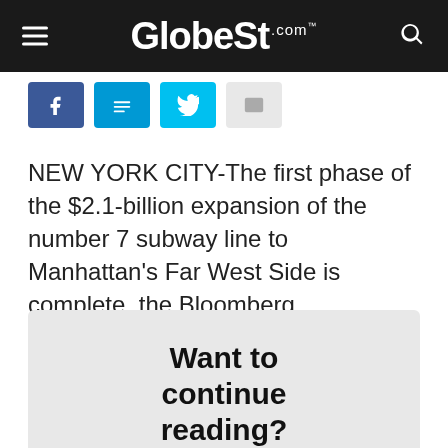GlobeSt.com
[Figure (other): Social sharing buttons: Facebook, Twitter (two variants), Email]
NEW YORK CITY-The first phase of the $2.1-billion expansion of the number 7 subway line to Manhattan's Far West Side is complete, the Bloomberg administration and the Metropolitan Transportation
Want to continue reading? Become a Free ALM Digital